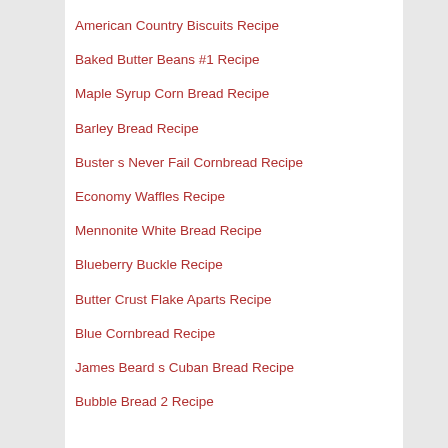American Country Biscuits Recipe
Baked Butter Beans #1 Recipe
Maple Syrup Corn Bread Recipe
Barley Bread Recipe
Buster s Never Fail Cornbread Recipe
Economy Waffles Recipe
Mennonite White Bread Recipe
Blueberry Buckle Recipe
Butter Crust Flake Aparts Recipe
Blue Cornbread Recipe
James Beard s Cuban Bread Recipe
Bubble Bread 2 Recipe